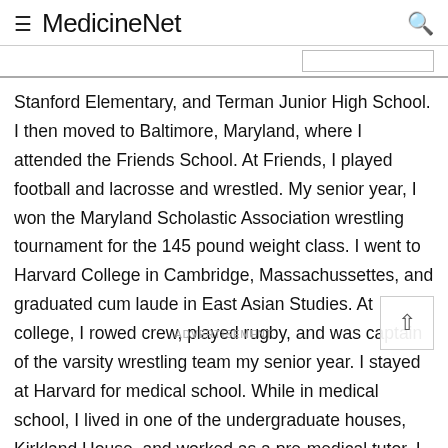MedicineNet
Stanford Elementary, and Terman Junior High School. I then moved to Baltimore, Maryland, where I attended the Friends School. At Friends, I played football and lacrosse and wrestled. My senior year, I won the Maryland Scholastic Association wrestling tournament for the 145 pound weight class. I went to Harvard College in Cambridge, Massachussettes, and graduated cum laude in East Asian Studies. At college, I rowed crew, played rugby, and was captain of the varsity wrestling team my senior year. I stayed at Harvard for medical school. While in medical school, I lived in one of the undergraduate houses, Kirkland House, and worked as a pre-medical tutor. I did my